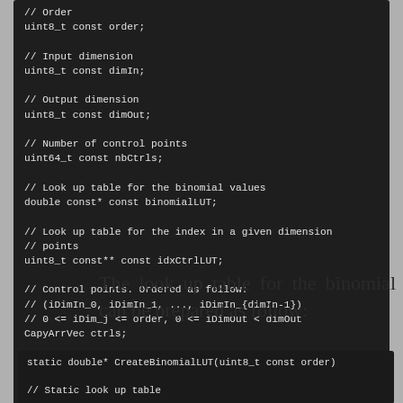[Figure (screenshot): Dark-themed code block showing C++ struct member declarations: order, dimIn, dimOut, nbCtrls, binomialLUT, idxCtrlLUT, ctrls, ctrlWeights with comments]
The look up table for the binomial can be prepared as follow:
[Figure (screenshot): Dark-themed code block showing start of static function CreateBinomialLUT and comment // Static look up table]